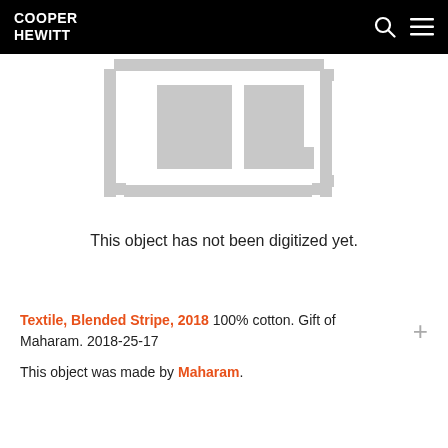COOPER HEWITT
[Figure (illustration): Gray pixelated placeholder image indicating no digitized photo is available, showing a stylized broken-image icon in light gray on white background]
This object has not been digitized yet.
Textile, Blended Stripe, 2018 100% cotton. Gift of Maharam. 2018-25-17
This object was made by Maharam.